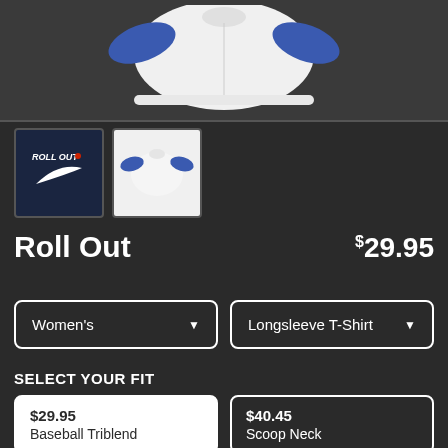[Figure (photo): White longsleeve baseball triblend t-shirt with blue sleeves, partially visible from chest down]
[Figure (photo): Thumbnail 1: dark navy background with 'ROLL OUT' text in Nike-style logo with swoosh]
[Figure (photo): Thumbnail 2: white longsleeve baseball shirt with blue sleeves]
Roll Out
$29.95
Women's dropdown selector
Longsleeve T-Shirt dropdown selector
SELECT YOUR FIT
$29.95
Baseball Triblend
$40.45
Scoop Neck